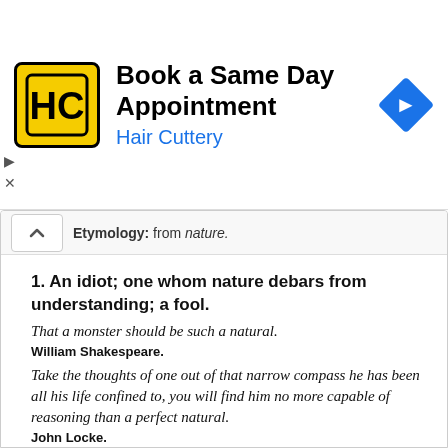[Figure (screenshot): Advertisement banner for Hair Cuttery: 'Book a Same Day Appointment' with HC logo and navigation arrow icon]
Etymology: from nature.
1. An idiot; one whom nature debars from understanding; a fool.
That a monster should be such a natural.
William Shakespeare.
Take the thoughts of one out of that narrow compass he has been all his life confined to, you will find him no more capable of reasoning than a perfect natural.
John Locke.
2. Native; original inhabitant.
The inhabitants and naturals of the place, should be in a state of freemen.
George Abbot, Description of the World.
Suppression, in many places, among the nobles of...